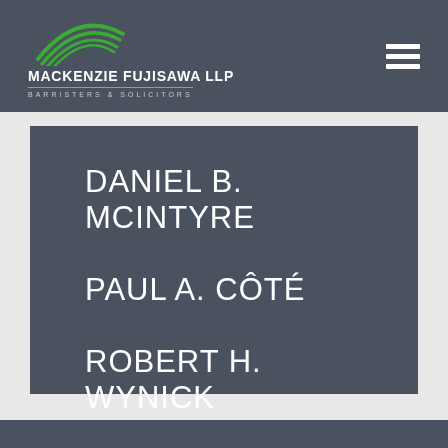MACKENZIE FUJISAWA LLP BARRISTERS & SOLICITORS
DANIEL B. MCINTYRE
PAUL A. CÔTÉ
ROBERT H. WYNICK